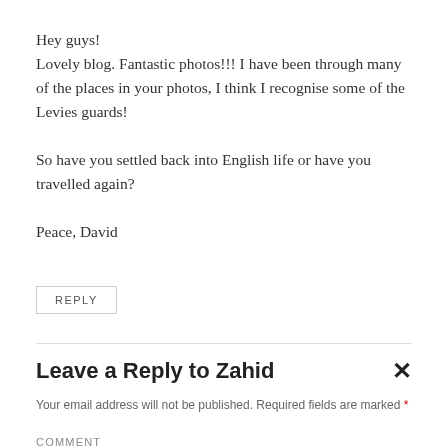Hey guys!
Lovely blog. Fantastic photos!!! I have been through many of the places in your photos, I think I recognise some of the Levies guards!

So have you settled back into English life or have you travelled again?

Peace, David
REPLY
Leave a Reply to Zahid
Your email address will not be published. Required fields are marked *
COMMENT